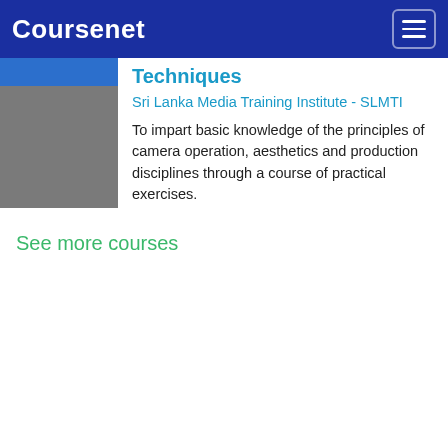Coursenet
Techniques
Sri Lanka Media Training Institute - SLMTI
To impart basic knowledge of the principles of camera operation, aesthetics and production disciplines through a course of practical exercises.
See more courses